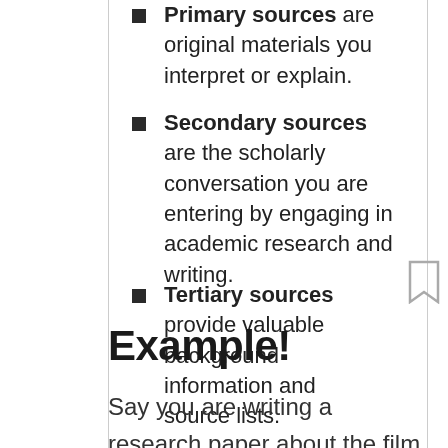Primary sources are original materials you interpret or explain.
Secondary sources are the scholarly conversation you are entering by engaging in academic research and writing.
Tertiary sources provide valuable background information and source lists.
Example!
Say you are writing a research paper about the film Battleship Potemkin...